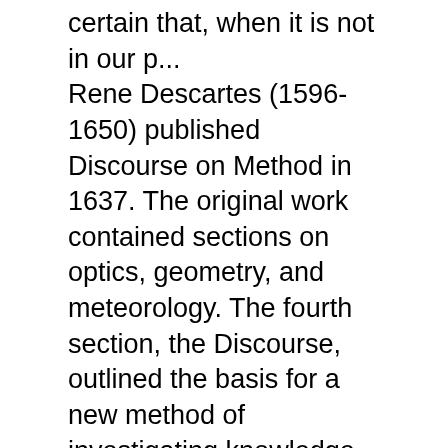certain that, when it is not in our p... Rene Descartes (1596-1650) published Discourse on Method in 1637. The original work contained sections on optics, geometry, and meteorology. The fourth section, the Discourse, outlined the basis for a new method of investigating knowledge.
Read "Discourse on Method" by René Descartes with Rakuten Kobo. Descartes's revolutionary treatise on reason and scientific thought, which sparked radical breakthroughs in mathematics,... One of the most influential books ever written, Descartes' Discourse on the Method delves into some of the most basic and